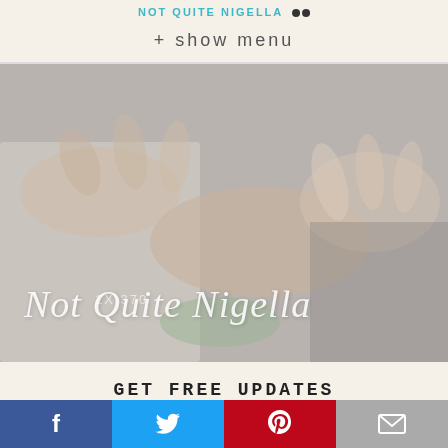NOT QUITE NIGELLA • + show menu
[Figure (photo): Blurred photo of hands on a table with a cookbook or notebook, with script text 'Not Quite Nigella' overlaid and a watermark '1X 370']
GET FREE UPDATES
Every morning I send my friends the latest restaurant, recipe or travel story from my blog. If you'd like to wake up to a delicious email just enter your email address below.
f  [Twitter bird]  [Pinterest P]  [email envelope]